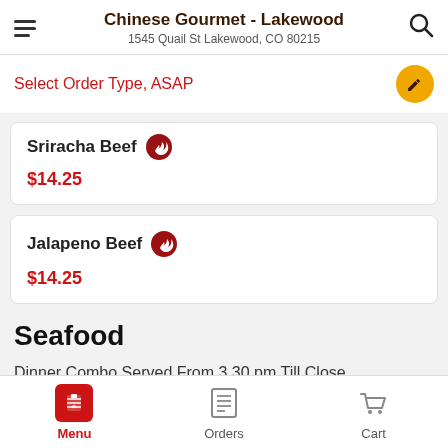Chinese Gourmet - Lakewood
1545 Quail St Lakewood, CO 80215
Select Order Type, ASAP
Sriracha Beef
$14.25
Jalapeno Beef
$14.25
Seafood
Dinner Combo Served From 3.30 pm Till Close
Add $3.75 More
Menu  Orders  Cart